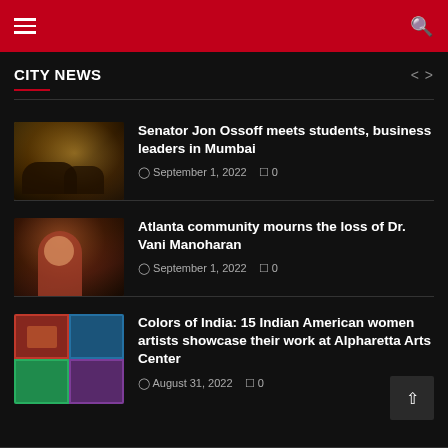CITY NEWS — navigation header with hamburger menu and search icon
CITY NEWS
Senator Jon Ossoff meets students, business leaders in Mumbai — September 1, 2022 — 0 comments
Atlanta community mourns the loss of Dr. Vani Manoharan — September 1, 2022 — 0 comments
Colors of India: 15 Indian American women artists showcase their work at Alpharetta Arts Center — August 31, 2022 — 0 comments